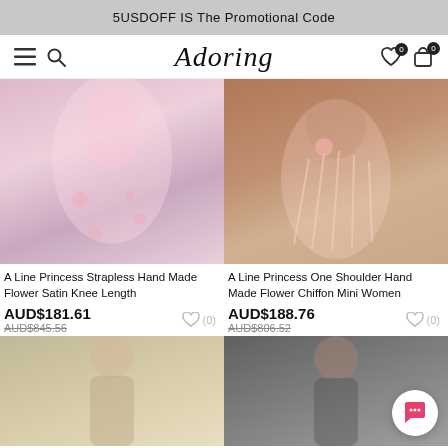5USDOFF IS The Promotional Code
[Figure (screenshot): Navigation bar with hamburger menu, search icon, 'Adoring' logo, wishlist and cart icons with 0 badges]
[Figure (photo): Pink floral satin knee length dress on model]
A Line Princess Strapless Hand Made Flower Satin Knee Length
AUD$181.61
AUD$845.56
[Figure (photo): Pink feather chiffon mini dress on model with one shoulder]
A Line Princess One Shoulder Hand Made Flower Chiffon Mini Women
AUD$188.76
AUD$806.52
[Figure (photo): Blonde woman in formal dress, partially visible at bottom left]
[Figure (photo): Dark-haired woman in formal dress on grey background, partially visible at bottom right]